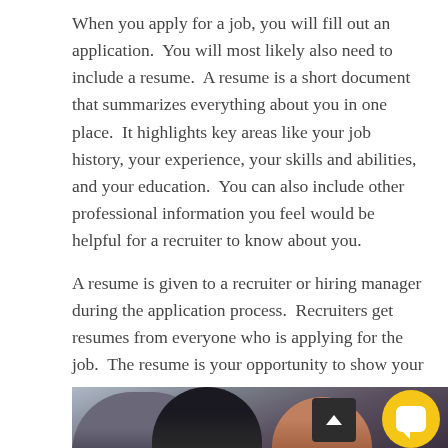When you apply for a job, you will fill out an application.  You will most likely also need to include a resume.  A resume is a short document that summarizes everything about you in one place.  It highlights key areas like your job history, your experience, your skills and abilities, and your education.  You can also include other professional information you feel would be helpful for a recruiter to know about you.
A resume is given to a recruiter or hiring manager during the application process.  Recruiters get resumes from everyone who is applying for the job.  The resume is your opportunity to show your most important experiences in a positive way. You want to create your resume so that it stands out from all of the others.
[Figure (photo): A partial photograph showing students or people in a classroom or group setting, cropped at the bottom of the page. A dark-haired person is visible in the foreground with others in the background.]